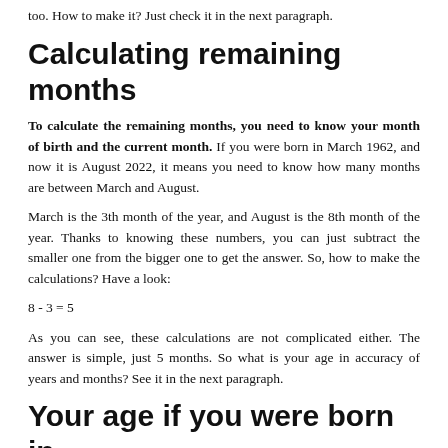too. How to make it? Just check it in the next paragraph.
Calculating remaining months
To calculate the remaining months, you need to know your month of birth and the current month. If you were born in March 1962, and now it is August 2022, it means you need to know how many months are between March and August.
March is the 3th month of the year, and August is the 8th month of the year. Thanks to knowing these numbers, you can just subtract the smaller one from the bigger one to get the answer. So, how to make the calculations? Have a look:
As you can see, these calculations are not complicated either. The answer is simple, just 5 months. So what is your age in accuracy of years and months? See it in the next paragraph.
Your age if you were born in